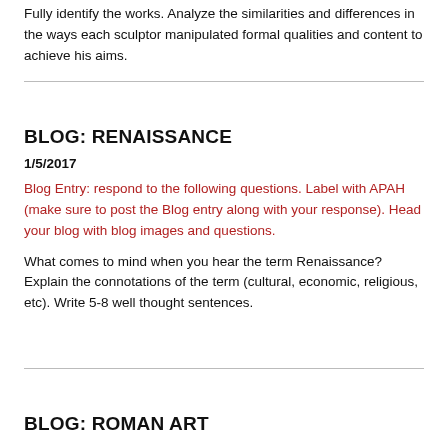Fully identify the works. Analyze the similarities and differences in the ways each sculptor manipulated formal qualities and content to achieve his aims.
BLOG: RENAISSANCE
1/5/2017
Blog Entry: respond to the following questions. Label with APAH (make sure to post the Blog entry along with your response). Head your blog with blog images and questions.
What comes to mind when you hear the term Renaissance? Explain the connotations of the term (cultural, economic, religious, etc). Write 5-8 well thought sentences.
BLOG: ROMAN ART